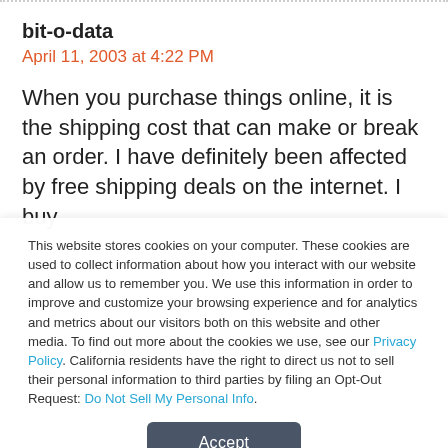bit-o-data
April 11, 2003 at 4:22 PM
When you purchase things online, it is the shipping cost that can make or break an order. I have definitely been affected by free shipping deals on the internet. I buy
This website stores cookies on your computer. These cookies are used to collect information about how you interact with our website and allow us to remember you. We use this information in order to improve and customize your browsing experience and for analytics and metrics about our visitors both on this website and other media. To find out more about the cookies we use, see our Privacy Policy. California residents have the right to direct us not to sell their personal information to third parties by filing an Opt-Out Request: Do Not Sell My Personal Info.
Accept